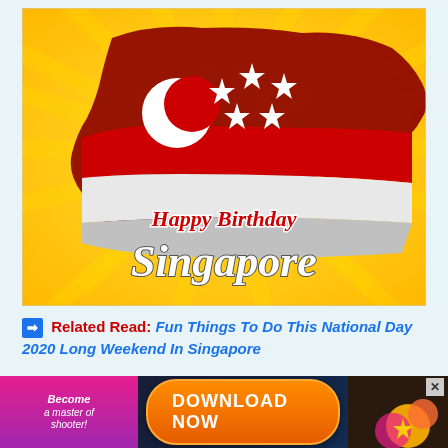[Figure (illustration): Happy Birthday Singapore illustration with yellow sunburst background, Singapore map in red with crescent moon and five stars (Singapore flag emblem), and cursive text 'Happy Birthday Singapore' in white and red lettering]
➡ Related Read: Fun Things To Do This National Day 2020 Long Weekend In Singapore
Watch the National Day Parade live
[Figure (infographic): Advertisement banner: pink/purple left side with 'Become a master of shooter!' text, orange 'DOWNLOAD NOW' button in center, colorful game imagery on right with close X button]